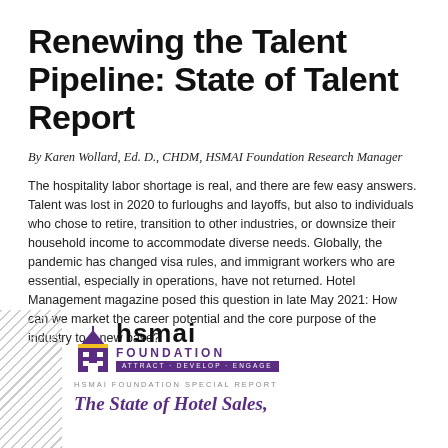Renewing the Talent Pipeline: State of Talent Report
By Karen Wollard, Ed. D., CHDM, HSMAI Foundation Research Manager
The hospitality labor shortage is real, and there are few easy answers. Talent was lost in 2020 to furloughs and layoffs, but also to individuals who chose to retire, transition to other industries, or downsize their household income to accommodate diverse needs. Globally, the pandemic has changed visa rules, and immigrant workers who are essential, especially in operations, have not returned. Hotel Management magazine posed this question in late May 2021: How can we market the career potential and the core purpose of the industry to a new base?
[Figure (logo): HSMAI Foundation logo with purple building icon, 'hsmai' in bold black text, 'FOUNDATION' in purple, and tagline 'ATTRACT · DEVELOP · ENGAGE' on purple bar]
HSMAI FOUNDATION SPECIAL REPORT
The State of Hotel Sales,